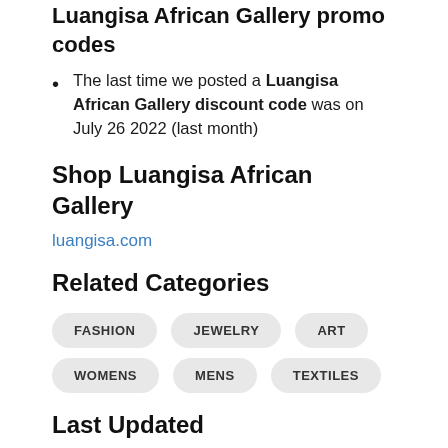Luangisa African Gallery promo codes
The last time we posted a Luangisa African Gallery discount code was on July 26 2022 (last month)
Shop Luangisa African Gallery
luangisa.com
Related Categories
FASHION
JEWELRY
ART
WOMENS
MENS
TEXTILES
Last Updated